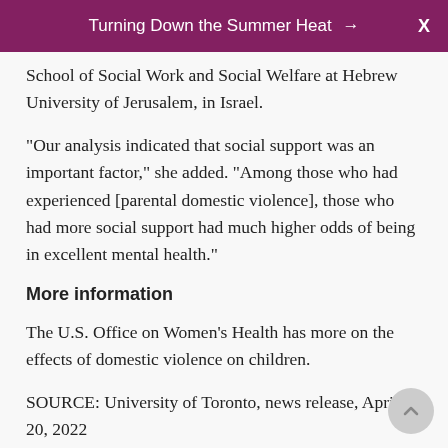Turning Down the Summer Heat →   X
School of Social Work and Social Welfare at Hebrew University of Jerusalem, in Israel.
"Our analysis indicated that social support was an important factor," she added. "Among those who had experienced [parental domestic violence], those who had more social support had much higher odds of being in excellent mental health."
More information
The U.S. Office on Women's Health has more on the effects of domestic violence on children.
SOURCE: University of Toronto, news release, April 20, 2022